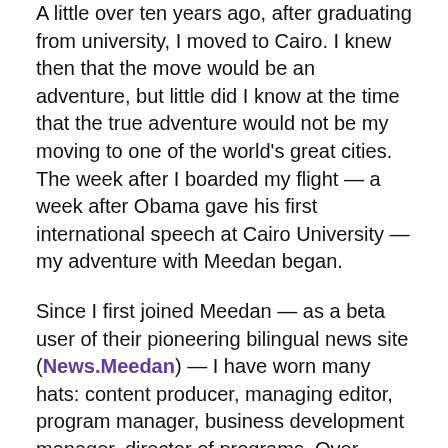A little over ten years ago, after graduating from university, I moved to Cairo. I knew then that the move would be an adventure, but little did I know at the time that the true adventure would not be my moving to one of the world's great cities. The week after I boarded my flight — a week after Obama gave his first international speech at Cairo University — my adventure with Meedan began.
Since I first joined Meedan — as a beta user of their pioneering bilingual news site (News.Meedan) — I have worn many hats: content producer, managing editor, program manager, business development manager, director of programs. Over these ten years the organization has grown from being a small community of translators and reporters focused on creating unique content, to a fully fledged technology company creating world-class tools that support a global community of journalists, fact checkers, human rights defenders, and researchers tackling some of the most pressing issues of our time